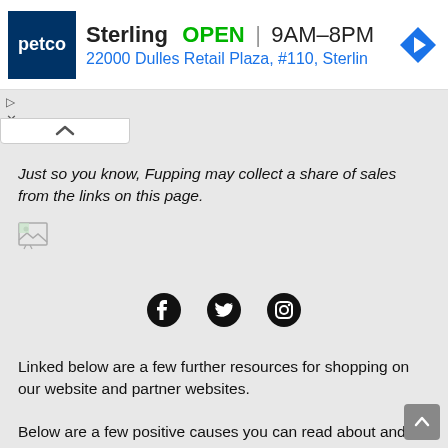[Figure (advertisement): Petco store ad banner showing Sterling store OPEN 9AM-8PM, address 22000 Dulles Retail Plaza, #110, Sterlin, with navigation icon]
Just so you know, Fupping may collect a share of sales from the links on this page.
[Figure (other): Broken image placeholder icon]
[Figure (other): Social media icons: Facebook, Twitter, Instagram]
Linked below are a few further resources for shopping on our website and partner websites.
Below are a few positive causes you can read about and get involved with on our website and partner websites.